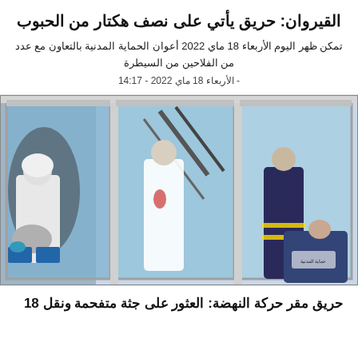القيروان: حريق يأتي على نصف هكتار من الحبوب
تمكن ظهر اليوم الأربعاء 18 ماي 2022 أعوان الحماية المدنية بالتعاون مع عدد من الفلاحين من السيطرة
- الأربعاء 18 ماي 2022 - 14:17
[Figure (photo): Emergency responders and civil protection personnel in white protective suits and uniforms inside a building with large glass windows, attending to an incident scene]
حريق مقر حركة النهضة: العثور على جثة متفحمة ونقل 18